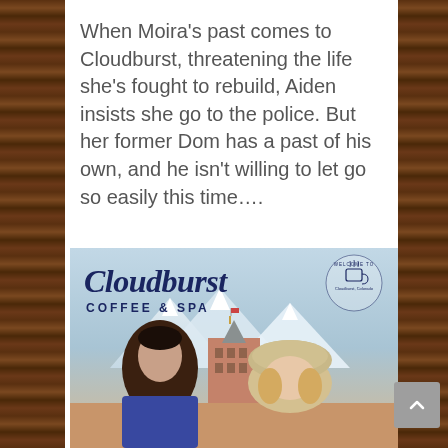When Moira's past comes to Cloudburst, threatening the life she's fought to rebuild, Aiden insists she go to the police. But her former Dom has a past of his own, and he isn't willing to let go so easily this time….
[Figure (illustration): Book cover for 'Cloudburst Coffee & Spa' showing a young man and woman in winter setting with snowy mountains and a historic downtown building. The title appears in script and sans-serif lettering in dark navy. A 'Welcome to Cloudburst, Colorado' badge with a coffee cup icon appears top right.]